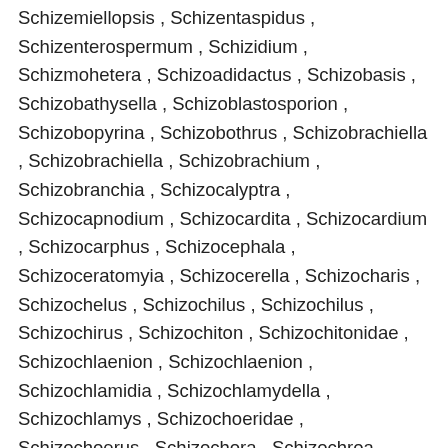Schizemiellopsis , Schizentaspidus , Schizenterospermum , Schizidium , Schizmohetera , Schizoadidactus , Schizobasis , Schizobathysella , Schizoblastosporion , Schizobopyrina , Schizobothrus , Schizobrachiella , Schizobrachiella , Schizobrachium , Schizobranchia , Schizocalyptra , Schizocapnodium , Schizocardita , Schizocardium , Schizocarphus , Schizocephala , Schizoceratomyia , Schizocerella , Schizocharis , Schizochelus , Schizochilus , Schizochilus , Schizochirus , Schizochiton , Schizochitonidae , Schizochlaenion , Schizochlaenion , Schizochlamidia , Schizochlamydella , Schizochlamys , Schizochoeridae , Schizochoerus , Schizochora , Schizochroa , Schizochytriodinium , Schizochytrium , Schizocidaris , Schizocladia , Schizocladiaceae , Schizocladiales , Schizocladiophyceae , Schizocoela , Schizocolea , Schizocosa , Schizocosmus , Schizoculina , Schizoculina , Schizocuma , Schizocyathus , Schizocanthus , Schizocantion , Schizocantion